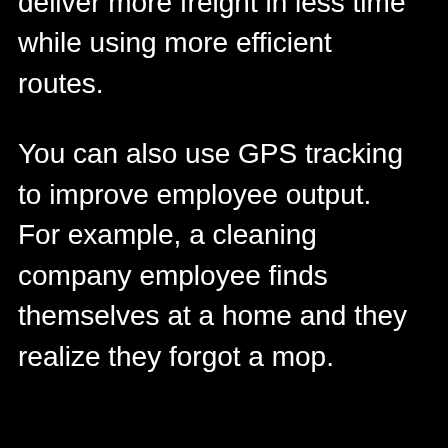that freight companies can deliver more freight in less time while using more efficient routes.
You can also use GPS tracking to improve employee output. For example, a cleaning company employee finds themselves at a home and they realize they forgot a mop.
They can call the home office to look for another cleaner nearby who does have an extra mop. This way, the cleaner get a mop without having to go back to the home office if it's more efficient.